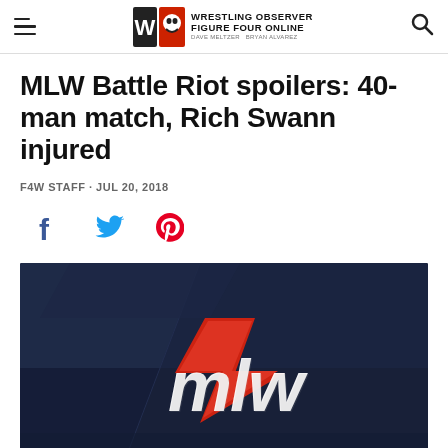Wrestling Observer Figure Four Online — Dave Meltzer · Bryan Alvarez
MLW Battle Riot spoilers: 40-man match, Rich Swann injured
F4W STAFF · JUL 20, 2018
[Figure (illustration): Social media share icons: Facebook (blue), Twitter (blue), Pinterest (red)]
[Figure (photo): MLW logo — white stylized letters 'mlw' with a red lightning bolt accent, on a dark navy blue three-dimensional geometric background]